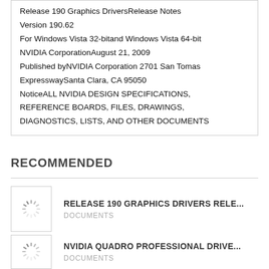Release 190 Graphics DriversRelease Notes Version 190.62 For Windows Vista 32-bitand Windows Vista 64-bit NVIDIA CorporationAugust 21, 2009 Published byNVIDIA Corporation 2701 San Tomas ExpresswaySanta Clara, CA 95050 NoticeALL NVIDIA DESIGN SPECIFICATIONS, REFERENCE BOARDS, FILES, DRAWINGS, DIAGNOSTICS, LISTS, AND OTHER DOCUMENTS
RECOMMENDED
RELEASE 190 GRAPHICS DRIVERS RELE...
DOCUMENTS
NVIDIA QUADRO PROFESSIONAL DRIVE...
DOCUMENTS